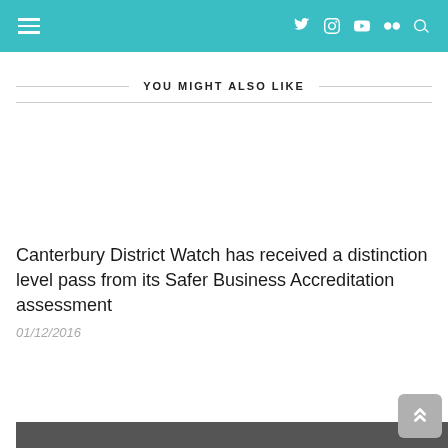Navigation bar with hamburger menu and social icons (Twitter, Instagram, YouTube, Flickr, Search)
YOU MIGHT ALSO LIKE
Canterbury District Watch has received a distinction level pass from its Safer Business Accreditation assessment
01/12/2016
[Figure (photo): Partial thumbnail image at bottom of page]